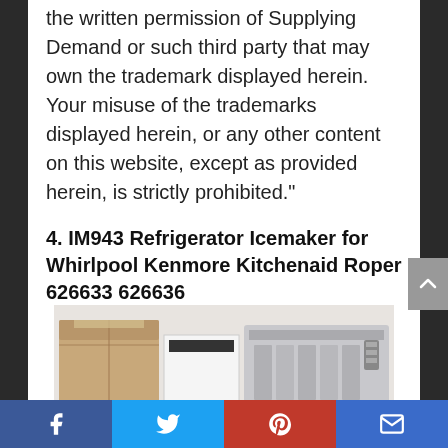the written permission of Supplying Demand or such third party that may own the trademark displayed herein. Your misuse of the trademarks displayed herein, or any other content on this website, except as provided herein, is strictly prohibited.”
4. IM943 Refrigerator Icemaker for Whirlpool Kenmore Kitchenaid Roper 626633 626636
[Figure (photo): Product photo of IM943 Refrigerator Icemaker showing cardboard box, white box, and metal icemaker tray components]
Facebook Twitter Pinterest Email social share buttons